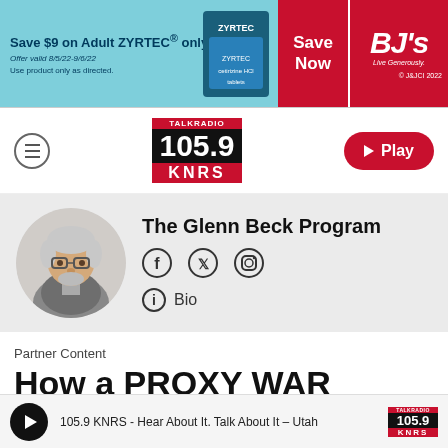[Figure (other): Zyrtec advertisement banner: Save $9 on Adult ZYRTEC only. Offer valid 8/5/22-9/6/22. Use product only as directed. Save Now. BJ's Live Generously. © J&JCI 2022]
[Figure (logo): TalkRadio 105.9 KNRS logo in center of navigation bar]
[Figure (photo): Circular profile photo of Glenn Beck, white-haired man with glasses wearing a suit]
The Glenn Beck Program
[Figure (infographic): Social media icons: Facebook, Twitter, Instagram]
Bio
Partner Content
How a PROXY WAR against
105.9 KNRS - Hear About It. Talk About It – Utah